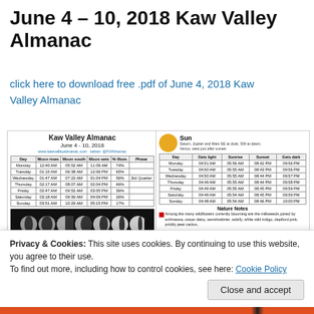June 4 – 10, 2018 Kaw Valley Almanac
click here to download free .pdf of June 4, 2018 Kaw Valley Almanac
[Figure (screenshot): Screenshot of the Kaw Valley Almanac for June 4-10, 2018, showing moon phase table, sun table, and nature notes with moon phase images]
Privacy & Cookies: This site uses cookies. By continuing to use this website, you agree to their use.
To find out more, including how to control cookies, see here: Cookie Policy
Close and accept